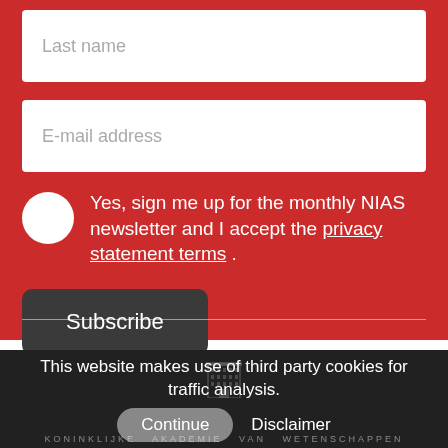Last name
E-mail address
Yes, sign me up for the monthly NIAS newsletter and I accept the privacy statement terms .
Subscribe
This website makes use of third party cookies for traffic analysis.
Continue
Disclaimer
KONINKLIJKE AKADEMIE VAN WETENSCHAPPEN